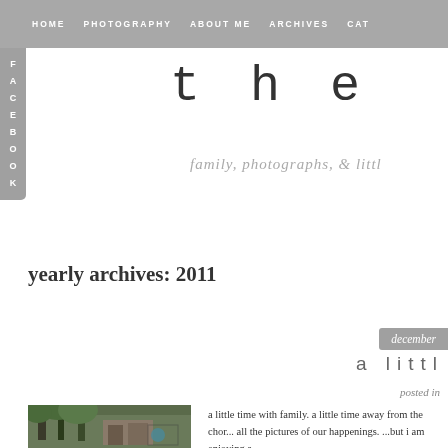HOME   PHOTOGRAPHY   ABOUT ME   ARCHIVES   CAT...
the bost
family, photographs, & littl
yearly archives: 2011
december
a littl
posted in
[Figure (photo): Outdoor photo showing trees and what appears to be a playground or outdoor structure with a child figure visible]
a little time with family.  a little time away from the chor... all the pictures of our happenings. ...but i am enjoying a